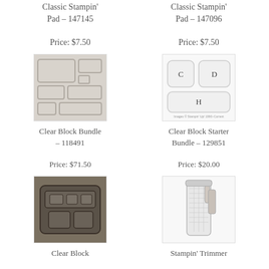Classic Stampin' Pad – 147145
Price: $7.50
Classic Stampin' Pad – 147096
Price: $7.50
[Figure (photo): Clear Block Bundle product photo showing multiple acrylic blocks of various sizes arranged together]
[Figure (photo): Clear Block Starter Bundle product photo showing three labeled acrylic blocks (C, D, H)]
Clear Block Bundle – 118491
Price: $71.50
Clear Block Starter Bundle – 129851
Price: $20.00
[Figure (photo): Clear Block product photo showing an organizer/case with multiple compartments]
[Figure (photo): Stampin' Trimmer product photo showing a paper trimmer with grid]
Clear Block
Stampin' Trimmer